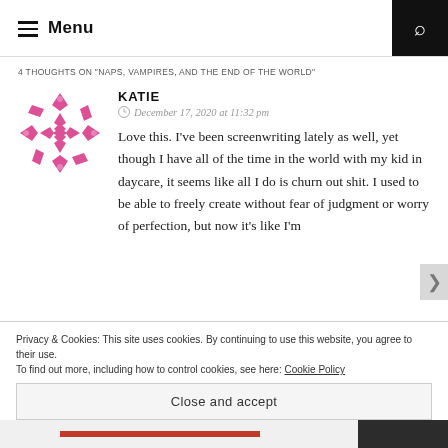Menu
4 THOUGHTS ON "NAPS, VAMPIRES, AND THE END OF THE WORLD"
[Figure (illustration): Decorative geometric avatar in pink/magenta with diamond and star patterns]
KATIE
December 17, 2020 at 11:32 pm
Love this. I've been screenwriting lately as well, yet though I have all of the time in the world with my kid in daycare, it seems like all I do is churn out shit. I used to be able to freely create without fear of judgment or worry of perfection, but now it's like I'm
Privacy & Cookies: This site uses cookies. By continuing to use this website, you agree to their use.
To find out more, including how to control cookies, see here: Cookie Policy
Close and accept